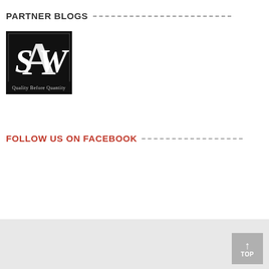PARTNER BLOGS
[Figure (logo): Black square logo with stylized letters S, A, W intertwined, and text 'Quality Before Quantity' at the bottom]
FOLLOW US ON FACEBOOK
TOP